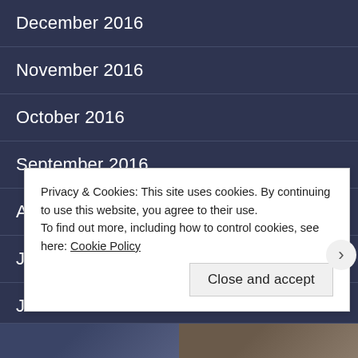December 2016
November 2016
October 2016
September 2016
August 2016
July 2016
June 2016
May 2016
April 2016
Privacy & Cookies: This site uses cookies. By continuing to use this website, you agree to their use.
To find out more, including how to control cookies, see here: Cookie Policy
Close and accept